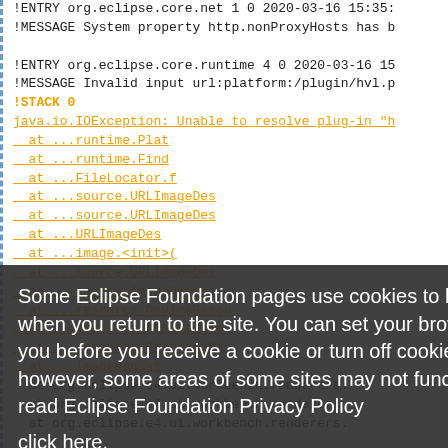!ENTRY org.eclipse.core.net 1 0 2020-03-16 15:35:
!MESSAGE System property http.nonProxyHosts has b

!ENTRY org.eclipse.core.runtime 4 0 2020-03-16 15
!MESSAGE Invalid input url:platform:/plugin/hvl.p
!STACK 0
java.io.IOException: Unable to resolve plug-in "h
  at ...runtime.Plat
  at ...runtime.Find
  at ...FileLocator.f
  at ...source.URLImageDes
  at ...source.URLImageDes
  at ...URLImageDes
  at ...image.<init>(
  at ...source.URLImageDes
  at ...source.ImageDescri
  at ...resource.DeviceResou
  at ...resource.AbstractRes
  at ...resource.ResourceMan
  at ...ImageRegist
  at org.eclipse.e4.ui.workbench.renderers.
  at org.eclipse.e4.ui.workbench.renderers.
  at org.eclipse.e4.ui.workbench.renderers.
Some Eclipse Foundation pages use cookies to better serve you when you return to the site. You can set your browser to notify you before you receive a cookie or turn off cookies. If you do so, however, some areas of some sites may not function properly. To read Eclipse Foundation Privacy Policy click here.